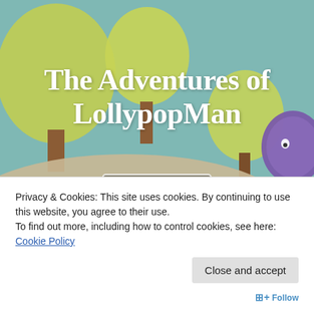[Figure (illustration): Colorful 3D-rendered scene with stylized yellow-green trees, sandy hills, and a purple lollipop character on a teal sky background]
The Adventures of LollypopMan
☰ Menu
Privacy & Cookies: This site uses cookies. By continuing to use this website, you agree to their use.
To find out more, including how to control cookies, see here: Cookie Policy
Close and accept